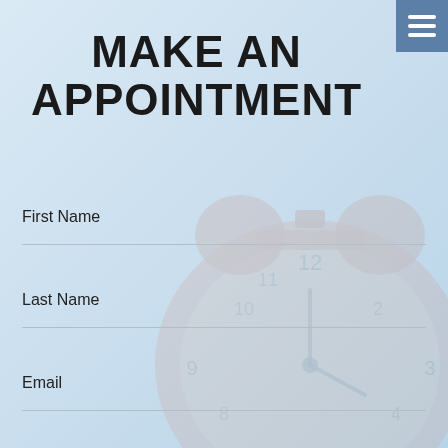MAKE AN APPOINTMENT
First Name
Last Name
Email
Phone
Appointment Reason